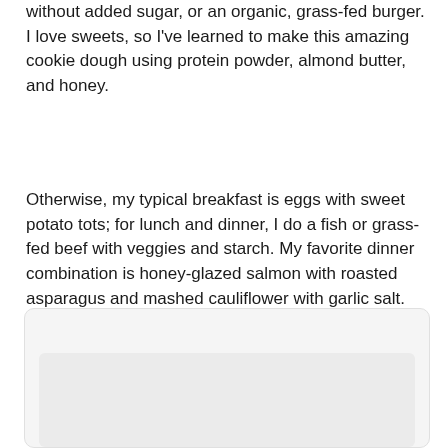without added sugar, or an organic, grass-fed burger. I love sweets, so I've learned to make this amazing cookie dough using protein powder, almond butter, and honey.
Otherwise, my typical breakfast is eggs with sweet potato tots; for lunch and dinner, I do a fish or grass-fed beef with veggies and starch. My favorite dinner combination is honey-glazed salmon with roasted asparagus and mashed cauliflower with garlic salt.
[Figure (other): A rounded rectangle card with a light gray background containing an inner lighter gray rectangle, appearing to be a placeholder image or content area.]